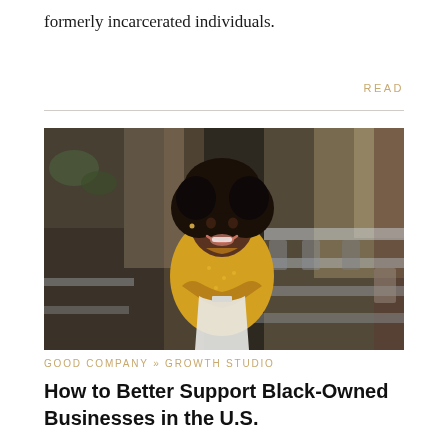formerly incarcerated individuals.
READ
[Figure (photo): A smiling Black woman wearing a yellow polka-dot shirt and white apron stands with arms crossed in a restaurant setting with tables, chairs, and ambient lighting in the background.]
GOOD COMPANY » GROWTH STUDIO
How to Better Support Black-Owned Businesses in the U.S.